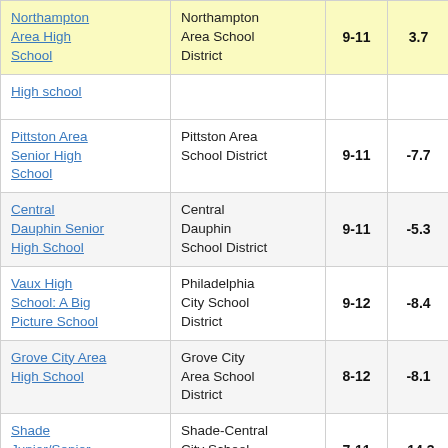| School | District | Grades | Score | (more) |
| --- | --- | --- | --- | --- |
| Northampton Area High School | Northampton Area School District | 9-11 | 3.7 |  |
| High School (partial) |  |  |  |  |
| Pittston Area Senior High School | Pittston Area School District | 9-11 | -7.7 |  |
| Central Dauphin Senior High School | Central Dauphin School District | 9-11 | -5.3 |  |
| Vaux High School: A Big Picture School | Philadelphia City School District | 9-12 | -8.4 |  |
| Grove City Area High School | Grove City Area School District | 8-12 | -8.1 |  |
| Shade Junior/Senior High School | Shade-Central City School District | 7-11 | -14.3 |  |